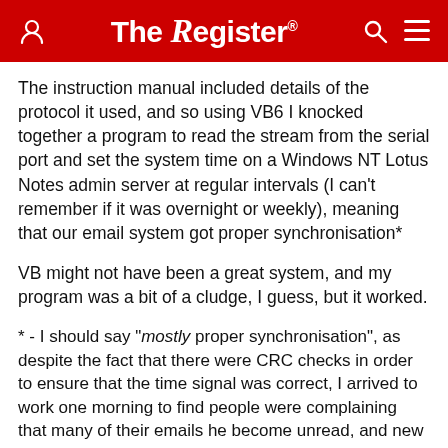The Register
The instruction manual included details of the protocol it used, and so using VB6 I knocked together a program to read the stream from the serial port and set the system time on a Windows NT Lotus Notes admin server at regular intervals (I can't remember if it was overnight or weekly), meaning that our email system got proper synchronisation*
VB might not have been a great system, and my program was a bit of a cludge, I guess, but it worked.
* - I should say "mostly proper synchronisation", as despite the fact that there were CRC checks in order to ensure that the time signal was correct, I arrived to work one morning to find people were complaining that many of their emails he become unread, and new emails were appearing out of sequence. I assume that in some circumstances it was possible that the signal noise to occasionally flip enough bits so that the time signal and